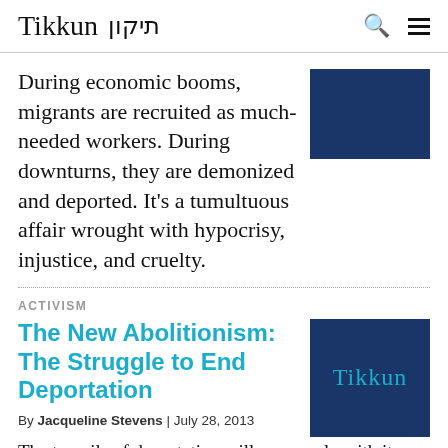Tikkun תיקון
During economic booms, migrants are recruited as much-needed workers. During downturns, they are demonized and deported. It's a tumultuous affair wrought with hypocrisy, injustice, and cruelty.
[Figure (other): Dark navy blue rectangular image placeholder]
ACTIVISM
The New Abolitionism: The Struggle to End Deportation
By Jacqueline Stevens | July 28, 2013
[Figure (logo): Dark navy blue rectangle with Tikkun text in teal/cyan color]
The travails of deportation will cease only with its abolition. From Dayton, Ohio,